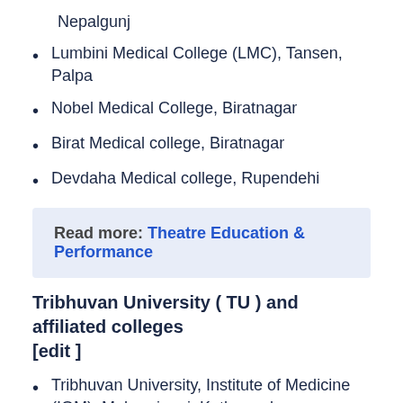Nepalgunj
Lumbini Medical College (LMC), Tansen, Palpa
Nobel Medical College, Biratnagar
Birat Medical college, Biratnagar
Devdaha Medical college, Rupendehi
Read more: Theatre Education & Performance
Tribhuvan University ( TU ) and affiliated colleges [edit ]
Tribhuvan University, Institute of Medicine (IOM), Maharajgunj, Kathmandu
Nepalese Army Institute of Health Sci...